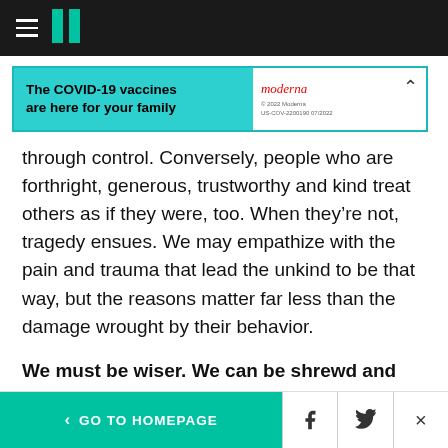HuffPost navigation bar with hamburger menu and logo
[Figure (other): Moderna COVID-19 vaccine advertisement banner: 'The COVID-19 vaccines are here for your family']
through control. Conversely, people who are forthright, generous, trustworthy and kind treat others as if they were, too. When they’re not, tragedy ensues. We may empathize with the pain and trauma that lead the unkind to be that way, but the reasons matter far less than the damage wrought by their behavior.
We must be wiser. We can be shrewd and fierce, yet still have integrity. Progressives
< GO TO HOMEPAGE  [Facebook] [Twitter] [X]